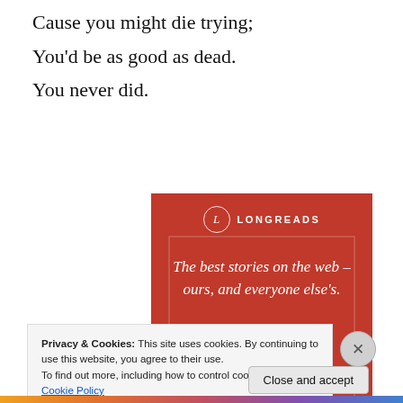Cause you might die trying;
You'd be as good as dead.
You never did.
[Figure (illustration): Longreads advertisement banner with red background showing the text 'The best stories on the web – ours, and everyone else's.' with a Start reading button]
Privacy & Cookies: This site uses cookies. By continuing to use this website, you agree to their use.
To find out more, including how to control cookies, see here: Cookie Policy